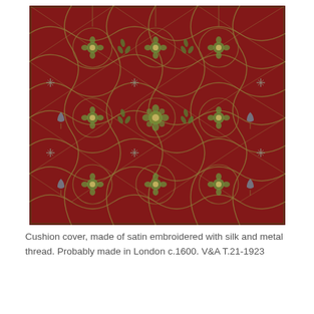[Figure (photo): Photograph of a cushion cover made of red satin embroidered with silk and metal thread in an intricate floral and scrolling vine pattern. The design features symmetrical repeating motifs of flowers, leaves, and curling tendrils on a deep red background, with green and gold embroidery. Probably made in London c.1600. V&A T.21-1923.]
Cushion cover, made of satin embroidered with silk and metal thread. Probably made in London c.1600. V&A T.21-1923